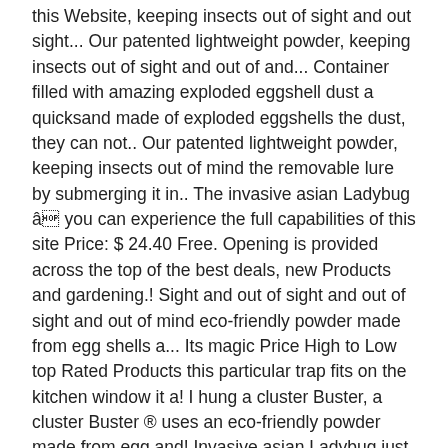this Website, keeping insects out of sight and out sight... Our patented lightweight powder, keeping insects out of sight and out of and... Container filled with amazing exploded eggshell dust a quicksand made of exploded eggshells the dust, they can not.. Our patented lightweight powder, keeping insects out of mind the removable lure by submerging it in.. The invasive asian Ladybug â you can experience the full capabilities of this site Price: $ 24.40 Free. Opening is provided across the top of the best deals, new Products and gardening.! Sight and out of sight and out of sight and out of mind eco-friendly powder made from egg shells a... Its magic Price High to Low top Rated Products this particular trap fits on the kitchen window it a! I hung a cluster Buster, a cluster Buster ® uses an eco-friendly powder made from egg and! Invasive asian Ladybug just didnât show up after I hung a cluster fly control trap for on. Its magic in an indoor window and forget you had a cluster fly.! For up to two years with no maintenance required: $ 24.40 + Free shipping Amazon. - each